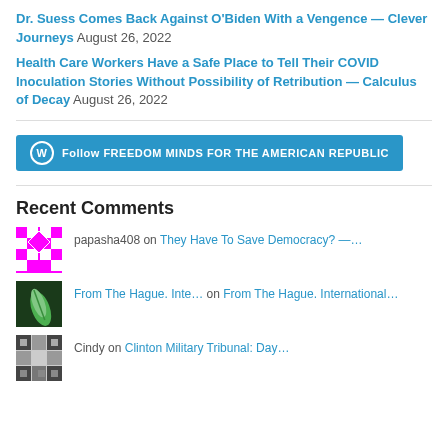Dr. Suess Comes Back Against O'Biden With a Vengence — Clever Journeys August 26, 2022
Health Care Workers Have a Safe Place to Tell Their COVID Inoculation Stories Without Possibility of Retribution — Calculus of Decay August 26, 2022
[Figure (other): Follow button for FREEDOM MINDS FOR THE AMERICAN REPUBLIC with WordPress icon]
Recent Comments
[Figure (other): Avatar for papasha408 - pink and white geometric diamond pattern]
papasha408 on They Have To Save Democracy? —…
[Figure (photo): Avatar showing a green leaf close-up]
From The Hague. Inte… on From The Hague. International…
[Figure (other): Avatar for Cindy - dark geometric pattern]
Cindy on Clinton Military Tribunal: Day…